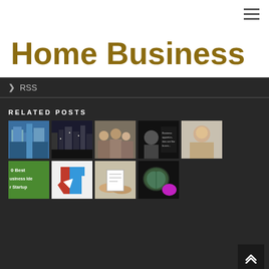≡
Home Business
› RSS
RELATED POSTS
[Figure (photo): Grid of 9 thumbnail images related to home business posts: buildings, city, crowd, person with quote, person portrait, green startup ideas text, Texas shape, hands with documents, brain illustration]
[Figure (infographic): Back to top button with upward arrow]